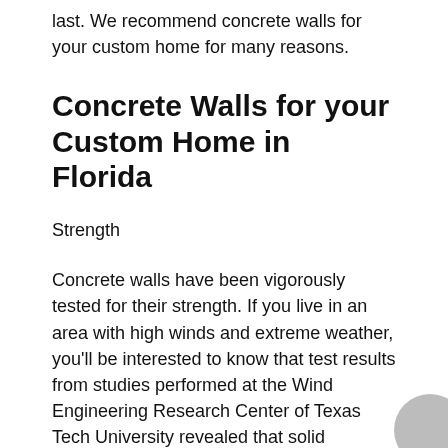last.  We recommend concrete walls for your custom home for many reasons.
Concrete Walls for your Custom Home in Florida
Strength
Concrete walls have been vigorously tested for their strength.  If you live in an area with high winds and extreme weather, you'll be interested to know that test results from studies performed at the Wind Engineering Research Center of Texas Tech University revealed that solid concrete walls have the best chance of effectively protecting your home from flying debris during hurricanes.  Solid